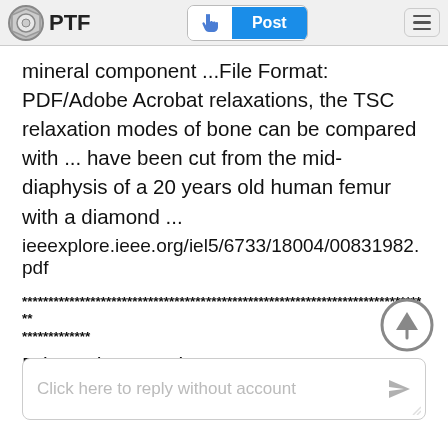PTF  Post
mineral component ...File Format: PDF/Adobe Acrobat relaxations, the TSC relaxation modes of bone can be compared with ... have been cut from the mid-diaphysis of a 20 years old human femur with a diamond ...
ieeexplore.ieee.org/iel5/6733/18004/00831982.pdf
******************************************************************************
*************
Brian Whatcott Altus OK
Click here to reply without account